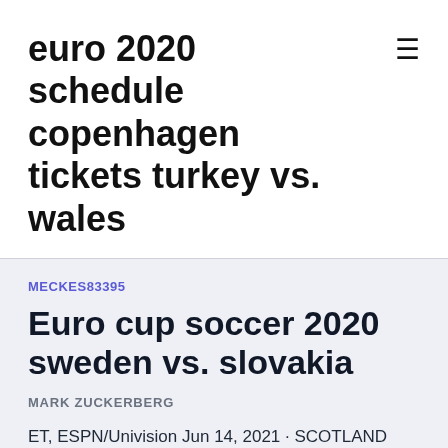euro 2020 schedule copenhagen tickets turkey vs. wales
MECKES83395
Euro cup soccer 2020 sweden vs. slovakia
MARK ZUCKERBERG
ET, ESPN/Univision Jun 14, 2021 · SCOTLAND begin their Euro 2020 campaign this afternoon – in their first